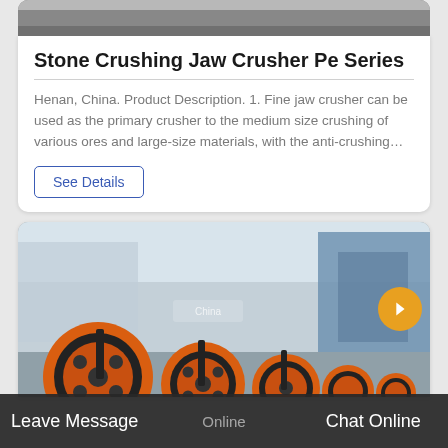[Figure (photo): Top portion of a product card showing the bottom of an industrial jaw crusher machine image, partially cropped]
Stone Crushing Jaw Crusher Pe Series
Henan, China. Product Description. 1. Fine jaw crusher can be used as the primary crusher to the medium size crushing of various ores and large-size materials, with the anti-crushing…
See Details
[Figure (photo): Photo of multiple orange and black industrial jaw crusher flywheel/pulley assemblies lined up in a row in a factory setting]
Leave Message   Online   Chat Online